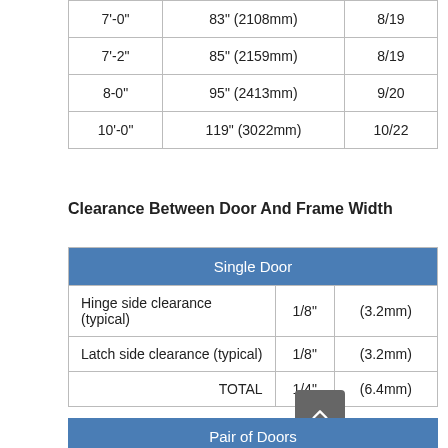|  |  |  |
| --- | --- | --- |
| 7'-0" | 83" (2108mm) | 8/19 |
| 7'-2" | 85" (2159mm) | 8/19 |
| 8-0" | 95" (2413mm) | 9/20 |
| 10'-0" | 119" (3022mm) | 10/22 |
Clearance Between Door And Frame Width
| Single Door |  |  |
| --- | --- | --- |
| Hinge side clearance (typical) | 1/8" | (3.2mm) |
| Latch side clearance (typical) | 1/8" | (3.2mm) |
| TOTAL | 1/4" | (6.4mm) |
| Pair of Doors |
| --- |